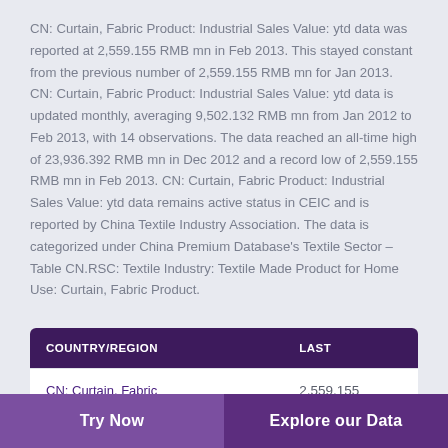CN: Curtain, Fabric Product: Industrial Sales Value: ytd data was reported at 2,559.155 RMB mn in Feb 2013. This stayed constant from the previous number of 2,559.155 RMB mn for Jan 2013. CN: Curtain, Fabric Product: Industrial Sales Value: ytd data is updated monthly, averaging 9,502.132 RMB mn from Jan 2012 to Feb 2013, with 14 observations. The data reached an all-time high of 23,936.392 RMB mn in Dec 2012 and a record low of 2,559.155 RMB mn in Feb 2013. CN: Curtain, Fabric Product: Industrial Sales Value: ytd data remains active status in CEIC and is reported by China Textile Industry Association. The data is categorized under China Premium Database's Textile Sector – Table CN.RSC: Textile Industry: Textile Made Product for Home Use: Curtain, Fabric Product.
| COUNTRY/REGION | LAST |
| --- | --- |
| CN: Curtain, Fabric Product: Industrial Sales | 2,559.155 |
Try Now   Explore our Data